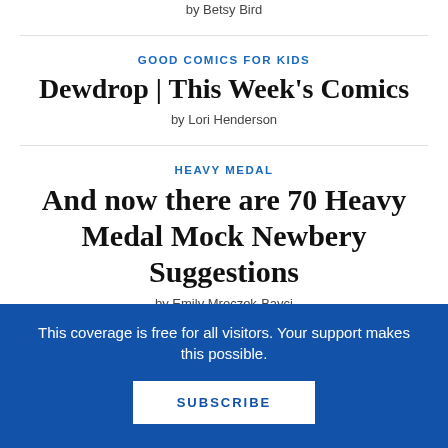by Betsy Bird
GOOD COMICS FOR KIDS
Dewdrop | This Week's Comics
by Lori Henderson
HEAVY MEDAL
And now there are 70 Heavy Medal Mock Newbery Suggestions
by Emily Mroczek-Bayci
TEEN LIBRARIAN TOOLBOX
This coverage is free for all visitors. Your support makes this possible.
SUBSCRIBE